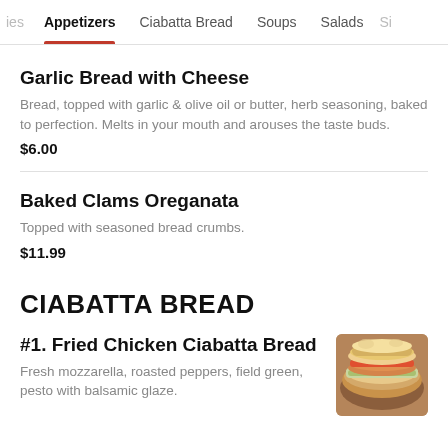ies   Appetizers   Ciabatta Bread   Soups   Salads   Si
Garlic Bread with Cheese
Bread, topped with garlic & olive oil or butter, herb seasoning, baked to perfection. Melts in your mouth and arouses the taste buds.
$6.00
Baked Clams Oreganata
Topped with seasoned bread crumbs.
$11.99
CIABATTA BREAD
#1. Fried Chicken Ciabatta Bread
Fresh mozzarella, roasted peppers, field green, pesto with balsamic glaze.
[Figure (photo): Photo of a fried chicken ciabatta bread sandwich with toppings]